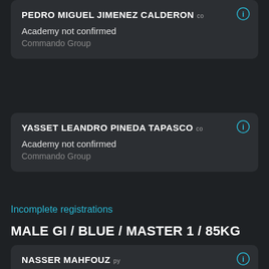PEDRO MIGUEL JIMENEZ CALDERON co
Academy not confirmed
Commando Group
YASSET LEANDRO PINEDA TAPASCO co
Academy not confirmed
Commando Group
Incomplete registrations
MALE GI / BLUE / MASTER 1 / 85KG
NASSER MAHFOUZ PY